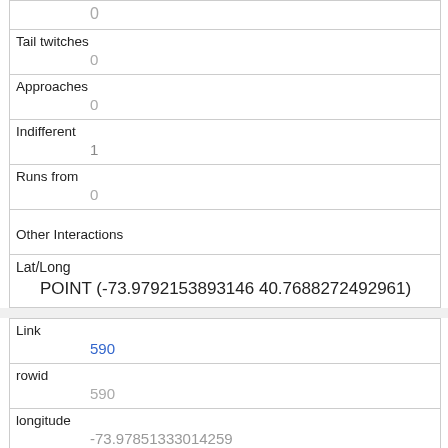|  | 0 |
| Tail twitches | 0 |
| Approaches | 0 |
| Indifferent | 1 |
| Runs from | 0 |
| Other Interactions |  |
| Lat/Long | POINT (-73.9792153893146 40.7688272492961) |
| Link | 590 |
| rowid | 590 |
| longitude | -73.97851333014259 |
| latitude |  |